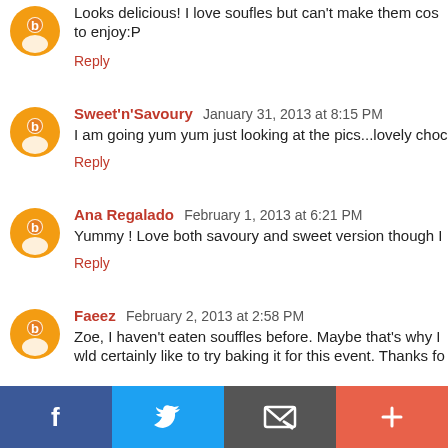Looks delicious! I love soufles but can't make them cos to enjoy:P
Reply
Sweet'n'Savoury  January 31, 2013 at 8:15 PM
I am going yum yum just looking at the pics...lovely choc
Reply
Ana Regalado  February 1, 2013 at 6:21 PM
Yummy ! Love both savoury and sweet version though I
Reply
Faeez  February 2, 2013 at 2:58 PM
Zoe, I haven't eaten souffles before. Maybe that's why I wld certainly like to try baking it for this event. Thanks fo